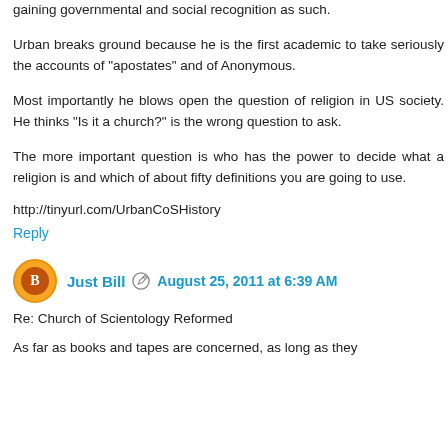gaining governmental and social recognition as such.
Urban breaks ground because he is the first academic to take seriously the accounts of "apostates" and of Anonymous.
Most importantly he blows open the question of religion in US society. He thinks "Is it a church?" is the wrong question to ask.
The more important question is who has the power to decide what a religion is and which of about fifty definitions you are going to use.
http://tinyurl.com/UrbanCoSHistory
Reply
Just Bill  August 25, 2011 at 6:39 AM
Re: Church of Scientology Reformed
As far as books and tapes are concerned, as long as they